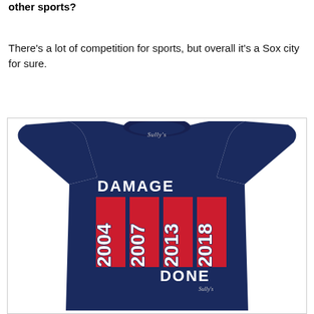other sports?
There's a lot of competition for sports, but overall it's a Sox city for sure.
[Figure (photo): A navy blue t-shirt with 'DAMAGE DONE' printed on it along with the years 2004, 2007, 2013, 2018 in red vertical banners, branded with 'Sully's' logo.]